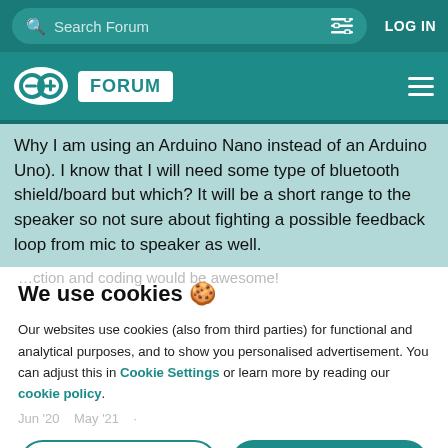Search Forum | LOG IN
Arduino FORUM
Why I am using an Arduino Nano instead of an Arduino Uno). I know that I will need some type of bluetooth shield/board but which? It will be a short range to the speaker so not sure about fighting a possible feedback loop from mic to speaker as well.
We use cookies 🍪
Our websites use cookies (also from third parties) for functional and analytical purposes, and to show you personalised advertisement. You can adjust this in Cookie Settings or learn more by reading our cookie policy.
Jun '20  May '21
ONLY REQUIRED   ACCEPT ALL